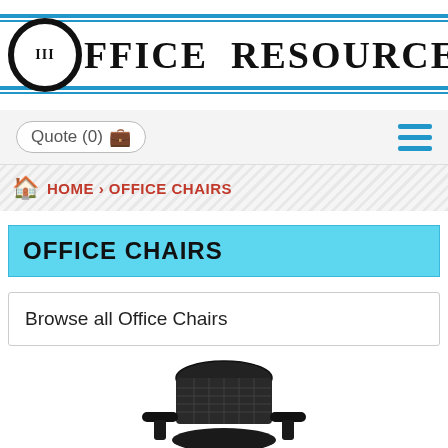[Figure (logo): Office Resource Group logo with circular III emblem and bold serif text]
Quote (0) 🧳
HOME › OFFICE CHAIRS
OFFICE CHAIRS
Browse all Office Chairs
[Figure (photo): Black mesh ergonomic office chair, top portion visible showing backrest and armrests]